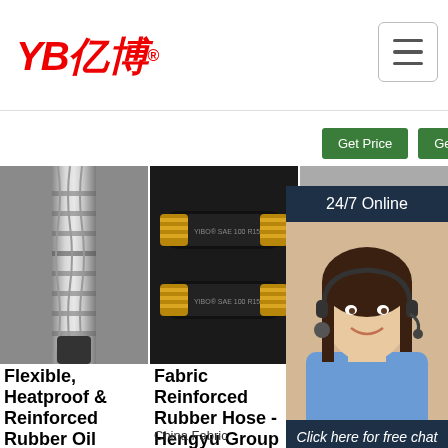[Figure (logo): YB Yibo brand logo in red with Chinese characters]
[Figure (screenshot): Hamburger menu button (three horizontal lines)]
[Figure (other): Green Get Price button (partially visible)]
[Figure (other): Green Get Price button]
[Figure (photo): Flexible heatproof reinforced rubber oil resistant hose product photo - metallic crimped fitting]
[Figure (photo): Fabric reinforced rubber hose - two black SAE 100 R15 hydraulic hose sections with gold end fittings]
[Figure (photo): Flexible heatproof reinforced textile rubber hose - partially obscured by chat overlay]
[Figure (infographic): 24/7 Online chat overlay with agent photo and QUOTATION button in orange]
Flexible, Heatproof & Reinforced Rubber Oil Resistant Hose ...
Fabric Reinforced Rubber Hose - Hengyu Group Hydraulic ...
China Fabric
Flexible, Heatproof & Reinforced Textile Rubber Hose ...
China High Quality Flexible Textile ...